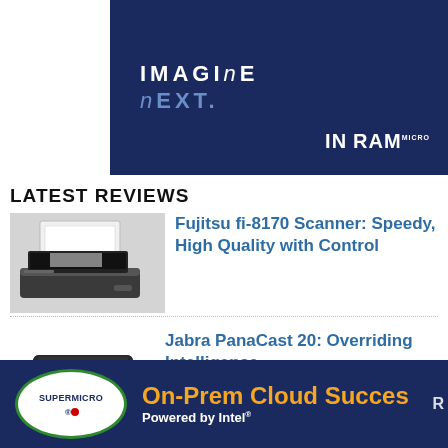[Figure (logo): Ingram Micro IMAGINE nEXT banner with dark navy background, white bold IMAGINE nEXT text and Ingram Micro logo]
LATEST REVIEWS
[Figure (photo): Fujitsu fi-8170 scanner on desk with book/paper]
Fujitsu fi-8170 Scanner: Speedy, High Quality with Control
[Figure (photo): Jabra PanaCast 20 camera, black compact webcam]
Jabra PanaCast 20: Overriding Intelligence
[Figure (logo): Supermicro On-Prem Cloud Success Powered by Intel advertisement banner with dark navy background]